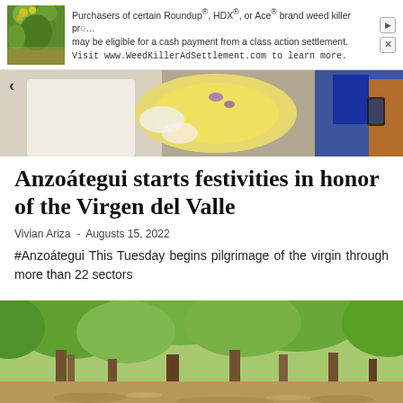[Figure (photo): Advertisement banner with yellow flower photo on left and text about Roundup/HDX/Ace weed killer class action settlement]
Purchasers of certain Roundup®, HDX®, or Ace® brand weed killer products may be eligible for a cash payment from a class action settlement. Visit www.WeedKillerAdSettlement.com to learn more.
[Figure (photo): A religious ceremony photo showing a person in white robes and an ornate golden/floral religious icon, with crowd in background]
Anzoátegui starts festivities in honor of the Virgen del Valle
Vivian Ariza - Augusts 15, 2022
#Anzoátegui This Tuesday begins pilgrimage of the virgin through more than 22 sectors
[Figure (photo): Flooded parkland with trees partially submerged in muddy brown water]